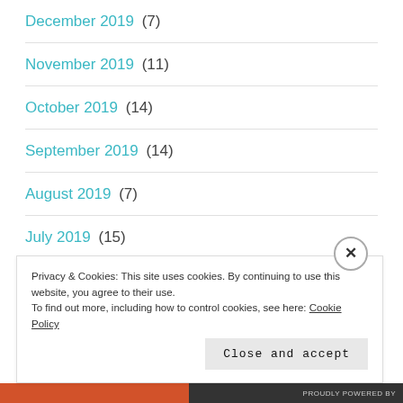December 2019 (7)
November 2019 (11)
October 2019 (14)
September 2019 (14)
August 2019 (7)
July 2019 (15)
Privacy & Cookies: This site uses cookies. By continuing to use this website, you agree to their use.
To find out more, including how to control cookies, see here: Cookie Policy
Close and accept